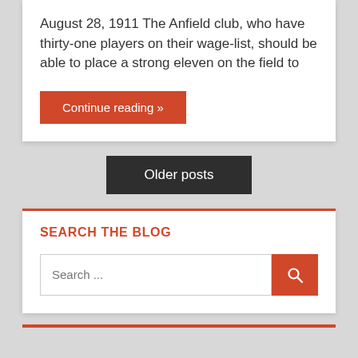August 28, 1911 The Anfield club, who have thirty-one players on their wage-list, should be able to place a strong eleven on the field to
Continue reading »
Older posts
SEARCH THE BLOG
Search ...